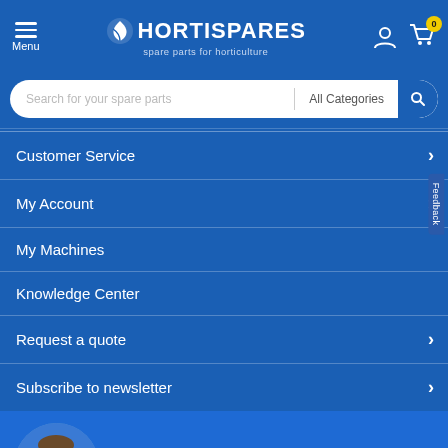[Figure (screenshot): HortiSpares website navigation screenshot showing header with logo, search bar, menu items (Customer Service, My Account, My Machines, Knowledge Center, Request a quote, Subscribe to newsletter), and a person photo with Mark Bentvelzen, Mechanical Equipment Specialist, and a language selector showing English.]